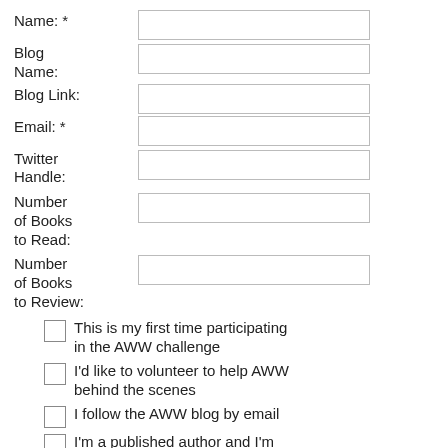Name: *
Blog Name:
Blog Link:
Email: *
Twitter Handle:
Number of Books to Read:
Number of Books to Review:
This is my first time participating in the AWW challenge
I'd like to volunteer to help AWW behind the scenes
I follow the AWW blog by email
I'm a published author and I'm